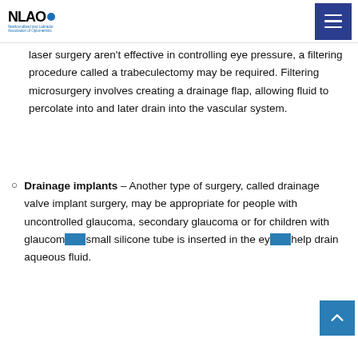NLAO – Newfoundland and Labrador Association of Optometrists
laser surgery aren't effective in controlling eye pressure, a filtering procedure called a trabeculectomy may be required. Filtering microsurgery involves creating a drainage flap, allowing fluid to percolate into and later drain into the vascular system.
Drainage implants – Another type of surgery, called drainage valve implant surgery, may be appropriate for people with uncontrolled glaucoma, secondary glaucoma or for children with glaucoma. A small silicone tube is inserted in the eye to help drain aqueous fluid.